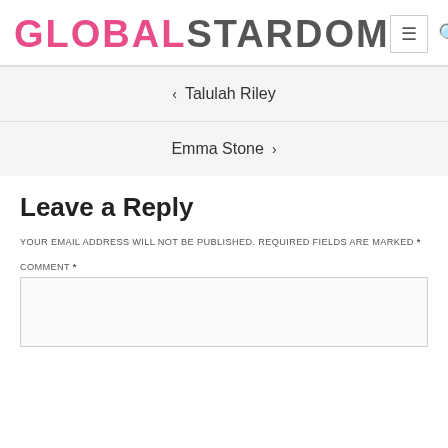GLOBALSTARDOM
< Talulah Riley
Emma Stone >
Leave a Reply
YOUR EMAIL ADDRESS WILL NOT BE PUBLISHED. REQUIRED FIELDS ARE MARKED *
COMMENT *